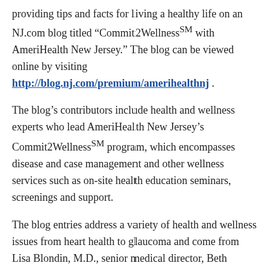providing tips and facts for living a healthy life on an NJ.com blog titled “Commit2WellnessSM with AmeriHealth New Jersey.” The blog can be viewed online by visiting http://blog.nj.com/premium/amerihealthnj .
The blog’s contributors include health and wellness experts who lead AmeriHealth New Jersey’s Commit2WellnessSM program, which encompasses disease and case management and other wellness services such as on-site health education seminars, screenings and support.
The blog entries address a variety of health and wellness issues from heart health to glaucoma and come from Lisa Blondin, M.D., senior medical director, Beth Sweeney, R.N., B.S.N., director of Commit2WellnessSM and Christine Young, R.N., B. S. N., manager, Commit2WellnessSM